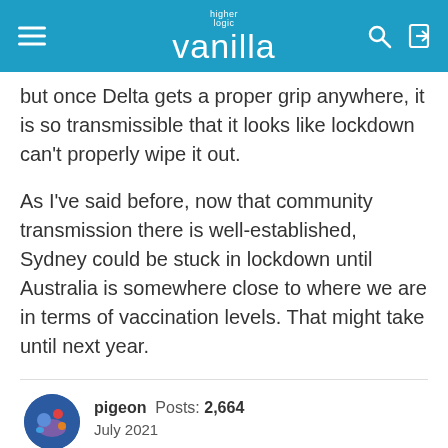higher logic vanilla
but once Delta gets a proper grip anywhere, it is so transmissible that it looks like lockdown can't properly wipe it out.
As I've said before, now that community transmission there is well-established, Sydney could be stuck in lockdown until Australia is somewhere close to where we are in terms of vaccination levels. That might take until next year.
pigeon  Posts: 2,664
July 2021
FrancisUrquhart said:
Answer my own question....No British man has won an Olympic middle-distance medal for more